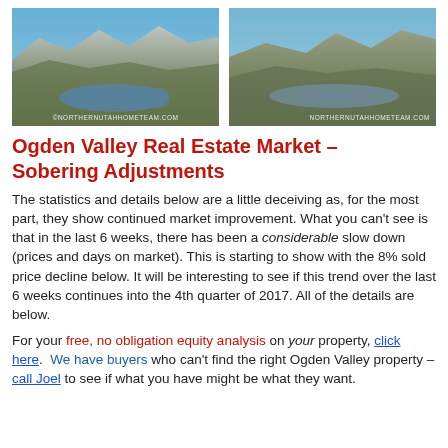[Figure (photo): Aerial photograph of Ogden Valley area showing mountains, lake, and valley from above with blue sky. Watermark: ©NorthernUtahHomeTeam.com]
[Figure (photo): Aerial photograph of Ogden Valley area showing mountains and reservoir from a different angle. Watermark: NorthernUtahHomeTeam.com]
Ogden Valley Real Estate Market – Sobering Adjustments
The statistics and details below are a little deceiving as, for the most part, they show continued market improvement. What you can't see is that in the last 6 weeks, there has been a considerable slow down (prices and days on market). This is starting to show with the 8% sold price decline below. It will be interesting to see if this trend over the last 6 weeks continues into the 4th quarter of 2017. All of the details are below.
For your free, no obligation equity analysis on your property, click here.  We have buyers who can't find the right Ogden Valley property – call Joel to see if what you have might be what they want.